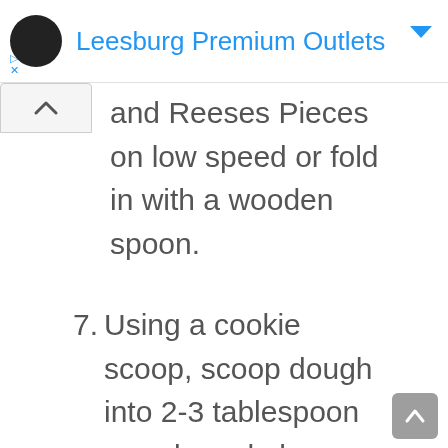Leesburg Premium Outlets
and Reeses Pieces on low speed or fold in with a wooden spoon.
7. Using a cookie scoop, scoop dough into 2-3 tablespoon rounds and place on the prepared